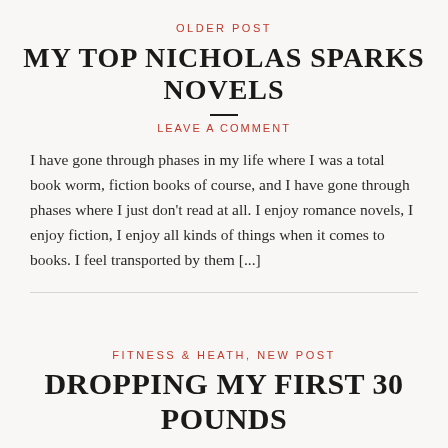OLDER POST
MY TOP NICHOLAS SPARKS NOVELS
LEAVE A COMMENT
I have gone through phases in my life where I was a total book worm, fiction books of course, and I have gone through phases where I just don't read at all. I enjoy romance novels, I enjoy fiction, I enjoy all kinds of things when it comes to books. I feel transported by them [...]
FITNESS & HEATH, NEW POST
DROPPING MY FIRST 30 POUNDS